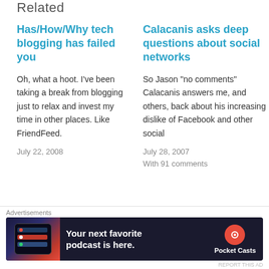Related
Has/How/Why tech blogging has failed you
Oh, what a hoot. I've been taking a break from blogging just to relax and invest my time in other places. Like FriendFeed.
July 22, 2008
Calacanis asks deep questions about social networks
So Jason "no comments" Calacanis answers me, and others, back about his increasing dislike of Facebook and other social
July 28, 2007
With 91 comments
I'm not a Guy kind
[Figure (screenshot): Advertisement banner for Pocket Casts podcast app. Dark background with app screenshot on left, text 'Your next favorite podcast is here.' in white, Pocket Casts logo and name on right.]